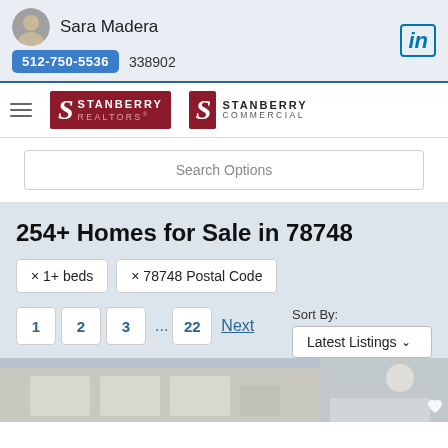Sara Madera 512-750-5536 338902
[Figure (logo): Stanberry Realtors and Stanberry Commercial logos]
Search Options
254+ Homes for Sale in 78748
× 1+ beds  × 78748 Postal Code
1  2  3  ...  22  Next  Sort By: Latest Listings